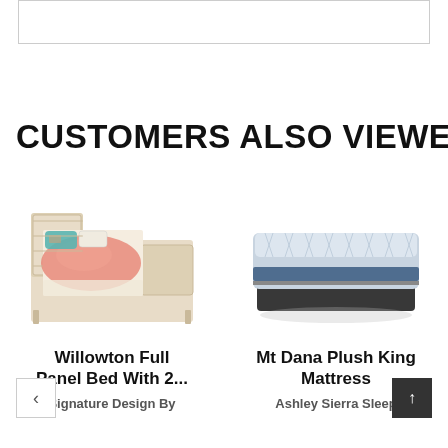[Figure (other): Partially visible product image box at top of page]
CUSTOMERS ALSO VIEWED
[Figure (photo): Willowton Full Panel Bed With 2 Storage Drawers - light wood bed with colorful bedding]
Willowton Full Panel Bed With 2...
Signature Design By
[Figure (photo): Mt Dana Plush King Mattress - white and blue quilted mattress with dark box spring]
Mt Dana Plush King Mattress
Ashley Sierra Sleep